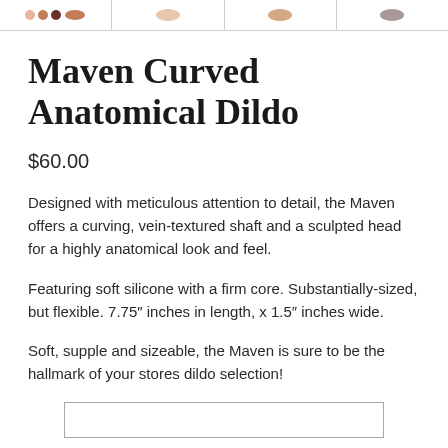[Figure (other): Thumbnail strip showing product color variants — row of four image cells each showing a silicone product, with color swatches beneath in the first cell (peach, tan, brown tones) and single oval shapes in cells 2, 3, 4 (light beige, medium beige, grey).]
Maven Curved Anatomical Dildo
$60.00
Designed with meticulous attention to detail, the Maven offers a curving, vein-textured shaft and a sculpted head for a highly anatomical look and feel.
Featuring soft silicone with a firm core. Substantially-sized, but flexible. 7.75″ inches in length, x 1.5″ inches wide.
Soft, supple and sizeable, the Maven is sure to be the hallmark of your stores dildo selection!